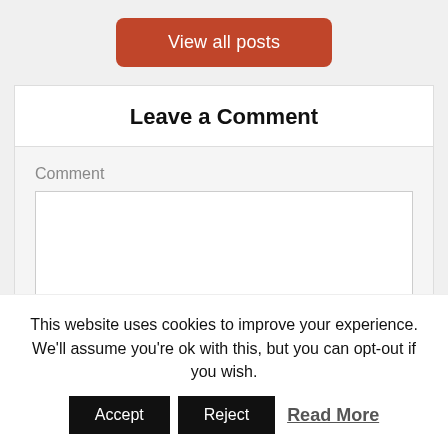View all posts
Leave a Comment
Comment
This website uses cookies to improve your experience. We'll assume you're ok with this, but you can opt-out if you wish.
Accept
Reject
Read More